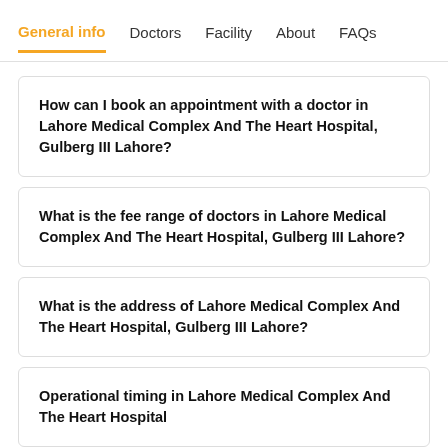General info  Doctors  Facility  About  FAQs
How can I book an appointment with a doctor in Lahore Medical Complex And The Heart Hospital, Gulberg III Lahore?
What is the fee range of doctors in Lahore Medical Complex And The Heart Hospital, Gulberg III Lahore?
What is the address of Lahore Medical Complex And The Heart Hospital, Gulberg III Lahore?
Operational timing in Lahore Medical Complex And The Heart Hospital